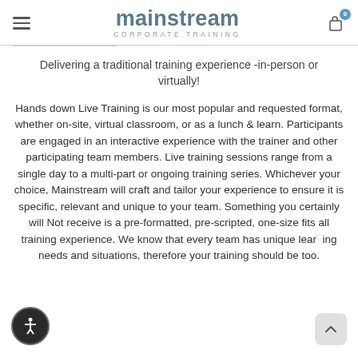mainstream CORPORATE TRAINING
Delivering a traditional training experience -in-person or virtually!
Hands down Live Training is our most popular and requested format, whether on-site, virtual classroom, or as a lunch & learn. Participants are engaged in an interactive experience with the trainer and other participating team members. Live training sessions range from a single day to a multi-part or ongoing training series. Whichever your choice, Mainstream will craft and tailor your experience to ensure it is specific, relevant and unique to your team. Something you certainly will Not receive is a pre-formatted, pre-scripted, one-size fits all training experience. We know that every team has unique learning needs and situations, therefore your training should be too.